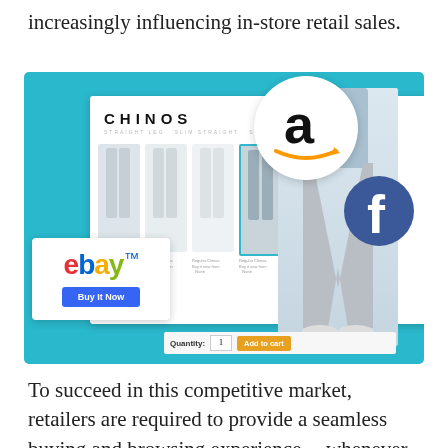increasingly influencing in-store retail sales.
[Figure (illustration): Illustration showing e-commerce and retail concept with a clothing website (Chinos) mockup, Amazon logo circle, Facebook circle logo, eBay logo card with 'Buy It Now' button, and a pants product image with 'Add to cart' button, all on a teal/cyan background.]
To succeed in this competitive market, retailers are required to provide a seamless buying and browsing experience -- whenever and wherever the customer